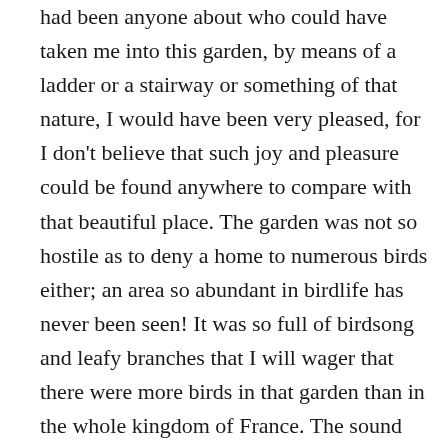had been anyone about who could have taken me into this garden, by means of a ladder or a stairway or something of that nature, I would have been very pleased, for I don't believe that such joy and pleasure could be found anywhere to compare with that beautiful place. The garden was not so hostile as to deny a home to numerous birds either; an area so abundant in birdlife has never been seen! It was so full of birdsong and leafy branches that I will wager that there were more birds in that garden than in the whole kingdom of France. The sound coming from it was beautiful, and it should gladden this whole world. I, myself, was made so happy by it that I would have given a hundred pounds to be shown a way in so that I could see the assembly of birds